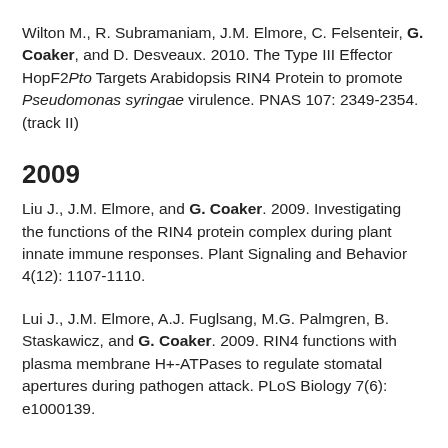Wilton M., R. Subramaniam, J.M. Elmore, C. Felsenteir, G. Coaker, and D. Desveaux. 2010. The Type III Effector HopF2Pto Targets Arabidopsis RIN4 Protein to promote Pseudomonas syringae virulence. PNAS 107: 2349-2354. (track II)
2009
Liu J., J.M. Elmore, and G. Coaker. 2009. Investigating the functions of the RIN4 protein complex during plant innate immune responses. Plant Signaling and Behavior 4(12): 1107-1110.
Lui J., J.M. Elmore, A.J. Fuglsang, M.G. Palmgren, B. Staskawicz, and G. Coaker. 2009. RIN4 functions with plasma membrane H+-ATPases to regulate stomatal apertures during pathogen attack. PLoS Biology 7(6): e1000139.